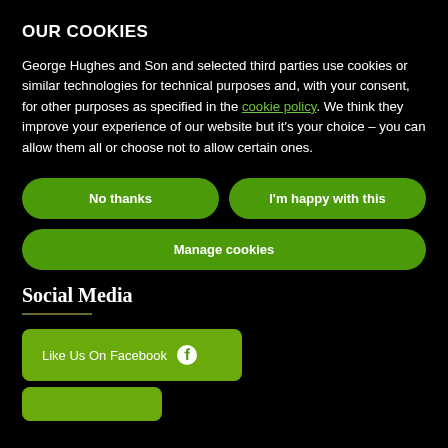OUR COOKIES
George Hughes and Son and selected third parties use cookies or similar technologies for technical purposes and, with your consent, for other purposes as specified in the cookie policy. We think they improve your experience of our website but it's your choice – you can allow them all or choose not to allow certain ones.
No thanks
I'm happy with this
Manage cookies
Social Media
Like Us On Facebook